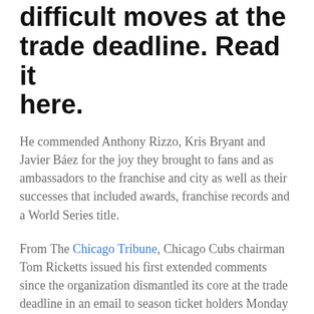difficult moves at the trade deadline. Read it here.
He commended Anthony Rizzo, Kris Bryant and Javier Báez for the joy they brought to fans and as ambassadors to the franchise and city as well as their successes that included awards, franchise records and a World Series title.
From The Chicago Tribune, Chicago Cubs chairman Tom Ricketts issued his first extended comments since the organization dismantled its core at the trade deadline in an email to season ticket holders Monday morning.